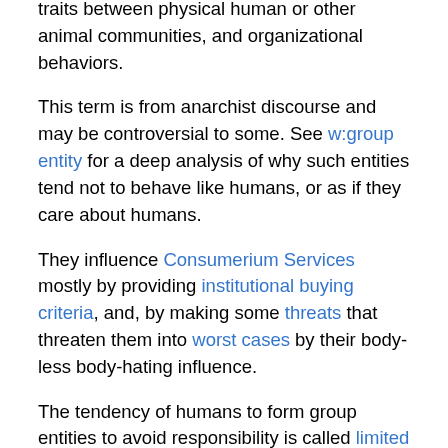traits between physical human or other animal communities, and organizational behaviors.
This term is from anarchist discourse and may be controversial to some. See w:group entity for a deep analysis of why such entities tend not to behave like humans, or as if they care about humans.
They influence Consumerium Services mostly by providing institutional buying criteria, and, by making some threats that threaten them into worst cases by their body-less body-hating influence.
The tendency of humans to form group entities to avoid responsibility is called limited liability. The way humans rationalize this, and pretend that they did not deliberately create the comprehensive outcome, is called groupthink. If a group does something, no one is responsible even if all